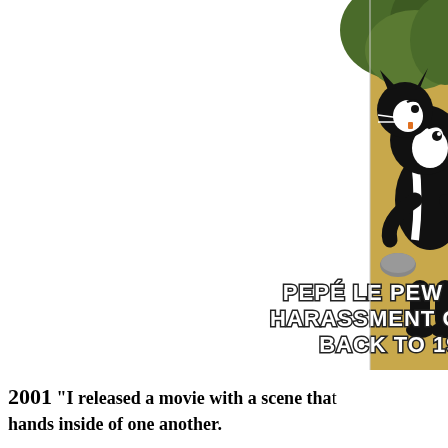[Figure (illustration): Cropped meme image showing Looney Tunes cartoon characters (Pepé Le Pew and another character) with bold white outlined text reading 'PEPÉ LE PEW FAC[ES] HARASSMENT CHAR[GES] BACK TO 19[...]' overlaid on the image. Only the right portion of the image is visible.]
2001 "I released a movie with a scene tha[t] hands inside of one another.